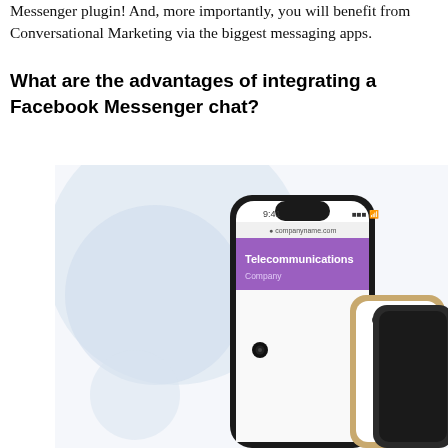Messenger plugin! And, more importantly, you will benefit from Conversational Marketing via the biggest messaging apps.
What are the advantages of integrating a Facebook Messenger chat?
[Figure (screenshot): A smartphone (iPhone X-style) displayed at an angle showing a website for 'Telecommunications Company' at companyname.com with the time 9:41 shown. Behind the phone, two additional phones (gold and space gray) are visible. The background has light blue circular shapes.]